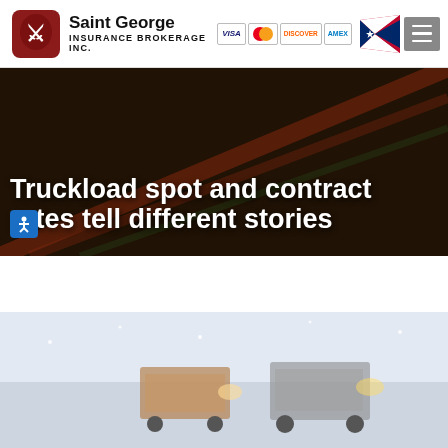Saint George Insurance Brokerage Inc.
Truckload spot and contract rates tell different stories
[Figure (photo): Aerial/overhead view of trucks on a snowy winter road]
[Figure (photo): Dark highway background with streaks of red and green light for hero banner]